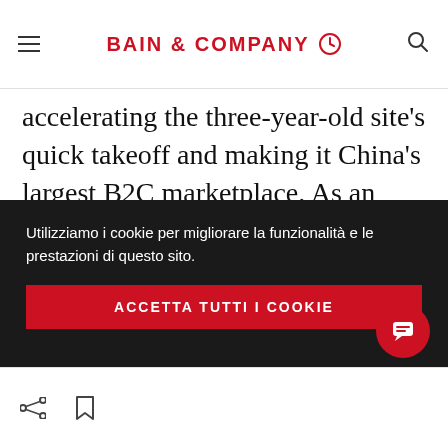BAIN & COMPANY
accelerating the three-year-old site's quick takeoff and making it China's largest B2C marketplace. As an online platform for brands and retailers, Tmall provides an alternative for shoppers concerned about the authenticity and safety of products sold on Taobao. In 2010 alone, it quadrupled sales, serving as a major profit
Utilizziamo i cookie per migliorare la funzionalità e le prestazioni di questo sito.
ACCETTA TUTTI I COOKIE